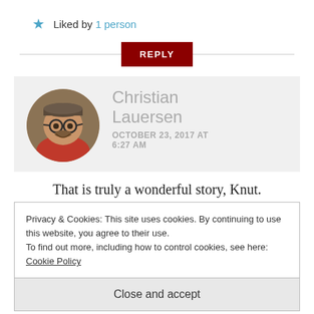★ Liked by 1 person
REPLY
[Figure (photo): Circular avatar photo of Christian Lauersen, smiling man with glasses and a cap, in a library setting]
Christian Lauersen
OCTOBER 23, 2017 AT 6:27 AM
That is truly a wonderful story, Knut.
Privacy & Cookies: This site uses cookies. By continuing to use this website, you agree to their use.
To find out more, including how to control cookies, see here: Cookie Policy
Close and accept
create to whatever they like in order